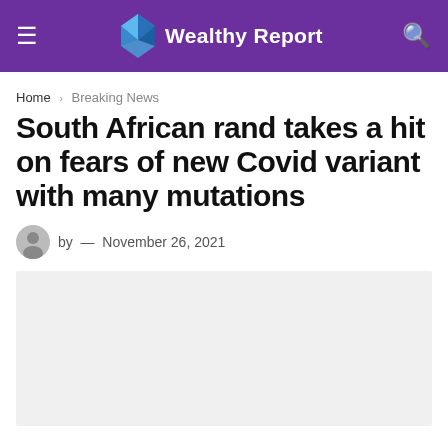Wealthy Report
Home › Breaking News
South African rand takes a hit on fears of new Covid variant with many mutations
by — November 26, 2021
[Figure (photo): Article image placeholder, light grey rectangle]